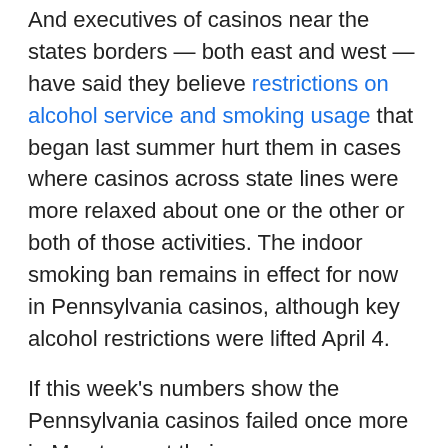And executives of casinos near the states borders — both east and west — have said they believe restrictions on alcohol service and smoking usage that began last summer hurt them in cases where casinos across state lines were more relaxed about one or the other or both of those activities. The indoor smoking ban remains in effect for now in Pennsylvania casinos, although key alcohol restrictions were lifted April 4.
If this week's numbers show the Pennsylvania casinos failed once more in May to meet their same-venue revenue levels from two years ago, there is a good chance that reaching that milepost has simply been delayed until June. For casino executives, it's a case of the sooner the better, although as the record $404.1 million month of March showed, Pennsylvania's broad adoption of online gaming — for wagers both on casino games and sports —